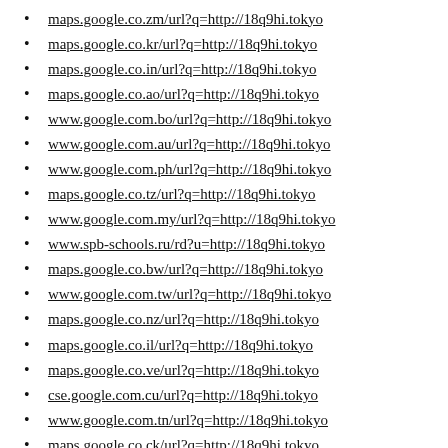maps.google.co.zm/url?q=http://18q9hi.tokyo
maps.google.co.kr/url?q=http://18q9hi.tokyo
maps.google.co.in/url?q=http://18q9hi.tokyo
maps.google.co.ao/url?q=http://18q9hi.tokyo
www.google.com.bo/url?q=http://18q9hi.tokyo
www.google.com.au/url?q=http://18q9hi.tokyo
www.google.com.ph/url?q=http://18q9hi.tokyo
maps.google.co.tz/url?q=http://18q9hi.tokyo
www.google.com.my/url?q=http://18q9hi.tokyo
www.spb-schools.ru/rd?u=http://18q9hi.tokyo
maps.google.co.bw/url?q=http://18q9hi.tokyo
www.google.com.tw/url?q=http://18q9hi.tokyo
maps.google.co.nz/url?q=http://18q9hi.tokyo
maps.google.co.il/url?q=http://18q9hi.tokyo
maps.google.co.ve/url?q=http://18q9hi.tokyo
cse.google.com.cu/url?q=http://18q9hi.tokyo
www.google.com.tn/url?q=http://18q9hi.tokyo
maps.google.co.ck/url?q=http://18q9hi.tokyo
www.google.com.pl/url?q=http://18q9hi.tokyo